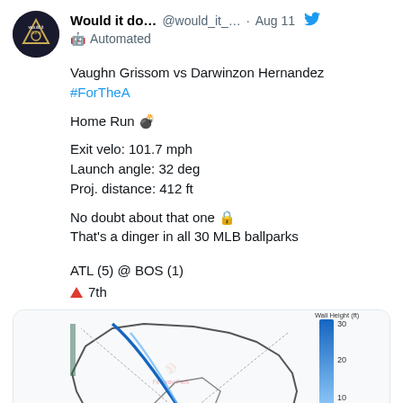Would it do... @would_it_... · Aug 11 | Automated
Vaughn Grissom vs Darwinzon Hernandez
#ForTheA

Home Run 💣

Exit velo: 101.7 mph
Launch angle: 32 deg
Proj. distance: 412 ft

No doubt about that one 🔒
That's a dinger in all 30 MLB ballparks

ATL (5) @ BOS (1)
▲ 7th
[Figure (other): Fenway Park spray chart showing home run trajectory with blue line, outfield wall outline, Red Sox logo watermark, and wall height legend (0-30 ft scale in blue gradient)]